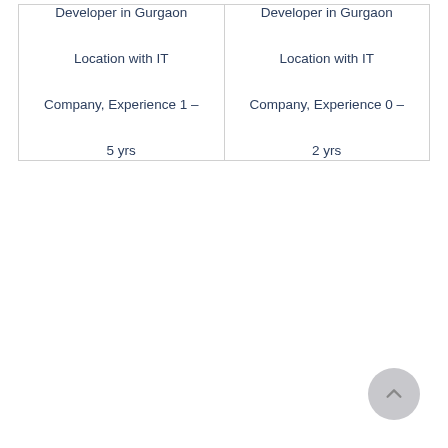Developer in Gurgaon Location with IT Company, Experience 1 – 5 yrs
Developer in Gurgaon Location with IT Company, Experience 0 – 2 yrs